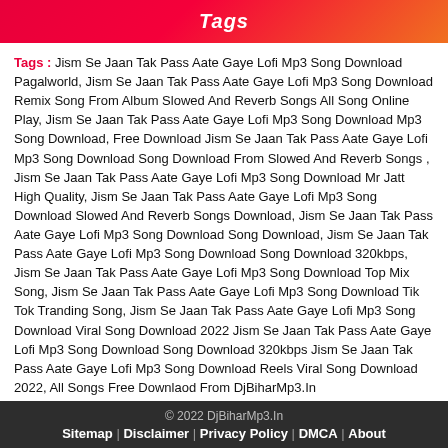Tags
Tags : Jism Se Jaan Tak Pass Aate Gaye Lofi Mp3 Song Download Pagalworld, Jism Se Jaan Tak Pass Aate Gaye Lofi Mp3 Song Download Remix Song From Album Slowed And Reverb Songs All Song Online Play, Jism Se Jaan Tak Pass Aate Gaye Lofi Mp3 Song Download Mp3 Song Download, Free Download Jism Se Jaan Tak Pass Aate Gaye Lofi Mp3 Song Download Song Download From Slowed And Reverb Songs , Jism Se Jaan Tak Pass Aate Gaye Lofi Mp3 Song Download Mr Jatt High Quality, Jism Se Jaan Tak Pass Aate Gaye Lofi Mp3 Song Download Slowed And Reverb Songs Download, Jism Se Jaan Tak Pass Aate Gaye Lofi Mp3 Song Download Song Download, Jism Se Jaan Tak Pass Aate Gaye Lofi Mp3 Song Download Song Download 320kbps, Jism Se Jaan Tak Pass Aate Gaye Lofi Mp3 Song Download Top Mix Song, Jism Se Jaan Tak Pass Aate Gaye Lofi Mp3 Song Download Tik Tok Tranding Song, Jism Se Jaan Tak Pass Aate Gaye Lofi Mp3 Song Download Viral Song Download 2022 Jism Se Jaan Tak Pass Aate Gaye Lofi Mp3 Song Download Song Download 320kbps Jism Se Jaan Tak Pass Aate Gaye Lofi Mp3 Song Download Reels Viral Song Download 2022, All Songs Free Downlaod From DjBiharMp3.In
© 2022 DjBiharMp3.In
Sitemap | Disclaimer | Privacy Policy | DMCA | About